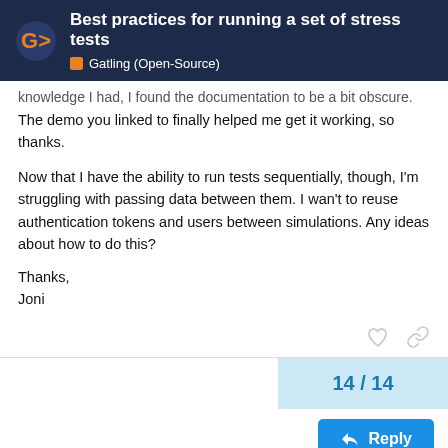Best practices for running a set of stress tests | Gatling (Open-Source)
knowledge I had, I found the documentation to be a bit obscure. The demo you linked to finally helped me get it working, so thanks.
Now that I have the ability to run tests sequentially, though, I'm struggling with passing data between them. I wan't to reuse authentication tokens and users between simulations. Any ideas about how to do this?
Thanks,
Joni
14 / 14
Reply
Suggested Topics